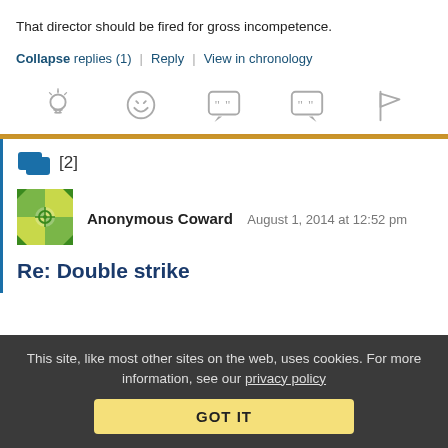That director should be fired for gross incompetence.
Collapse replies (1) | Reply | View in chronology
[Figure (infographic): Row of five gray icons: lightbulb, laughing face emoticon, speech bubble with quotation marks, speech bubble with quotation marks, and flag]
[2]
Anonymous Coward   August 1, 2014 at 12:52 pm
Re: Double strike
This site, like most other sites on the web, uses cookies. For more information, see our privacy policy
GOT IT